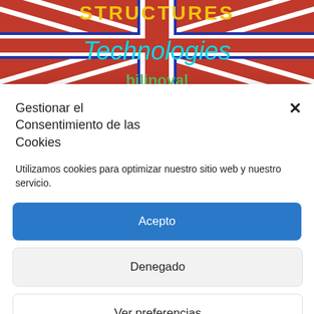[Figure (photo): UK Union Jack flag background with overlaid text: 'STRUCTURES Technologies bilinoval' in yellow, cyan, and green colors on a distressed red/blue flag design]
Gestionar el Consentimiento de las Cookies
Utilizamos cookies para optimizar nuestro sitio web y nuestro servicio.
Acepto
Denegado
Ver preferencias